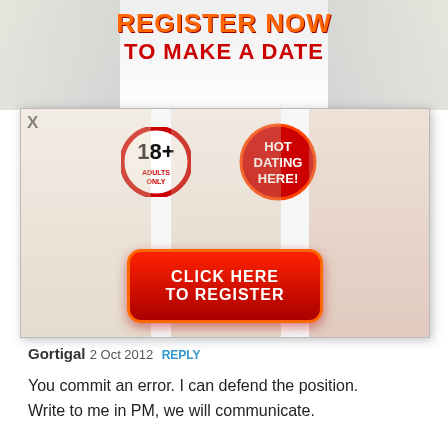[Figure (advertisement): Adult dating website advertisement banner reading REGISTER NOW TO MAKE A DATE with photos of women, 18+ badge, HOT DATING HERE badge, and CLICK HERE TO REGISTER button]
Gortigal 2 Oct 2012  REPLY
You commit an error. I can defend the position. Write to me in PM, we will communicate.